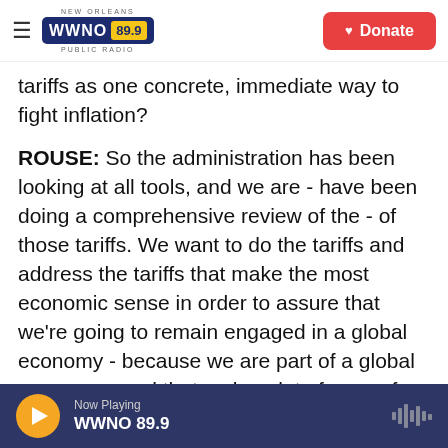NEW ORLEANS WWNO 89.9 PUBLIC RADIO | Donate
tariffs as one concrete, immediate way to fight inflation?
ROUSE: So the administration has been looking at all tools, and we are - have been doing a comprehensive review of the - of those tariffs. We want to do the tariffs and address the tariffs that make the most economic sense in order to assure that we're going to remain engaged in a global economy - because we are part of a global economy - and that make a lot of sense for the U.S. economy as well.
Now Playing WWNO 89.9